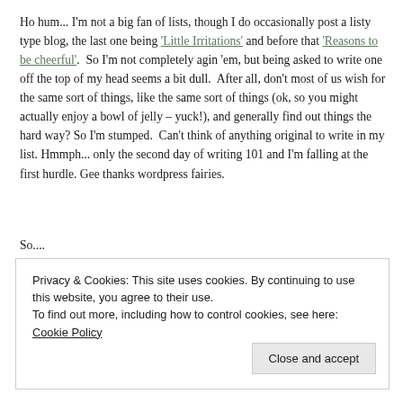Ho hum... I'm not a big fan of lists, though I do occasionally post a listy type blog, the last one being 'Little Irritations' and before that 'Reasons to be cheerful'.  So I'm not completely agin 'em, but being asked to write one off the top of my head seems a bit dull.  After all, don't most of us wish for the same sort of things, like the same sort of things (ok, so you might actually enjoy a bowl of jelly – yuck!), and generally find out things the hard way? So I'm stumped.  Can't think of anything original to write in my list. Hmmph... only the second day of writing 101 and I'm falling at the first hurdle. Gee thanks wordpress fairies.
So....
Privacy & Cookies: This site uses cookies. By continuing to use this website, you agree to their use.
To find out more, including how to control cookies, see here: Cookie Policy
Close and accept